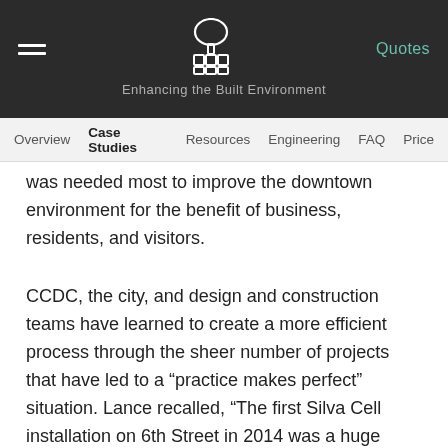Enhancing the Built Environment — Quotes
Overview  Case Studies  Resources  Engineering  FAQ  Price
was needed most to improve the downtown environment for the benefit of business, residents, and visitors.
CCDC, the city, and design and construction teams have learned to create a more efficient process through the sheer number of projects that have led to a “practice makes perfect” situation. Lance recalled, “The first Silva Cell installation on 6th Street in 2014 was a huge lesson-learned experience. There were challenges with design, installation, and business operations during construction.”